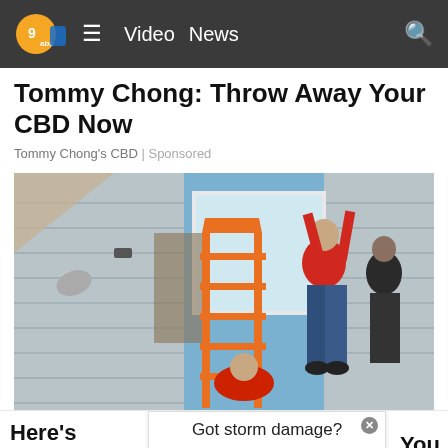Video  News
Tommy Chong: Throw Away Your CBD Now
Tommy Chong's CBD | Sponsored
[Figure (photo): Workers on an orange ladder installing or repairing a window on the exterior of a gray house. A person in a red shirt is reaching up to lift a large window panel. Another person is crouched at the base.]
Here's  You
 In 202
[Figure (advertisement): Ad overlay reading 'Got storm damage?' with SERVPRO logo and 'Learn More' button in orange.]